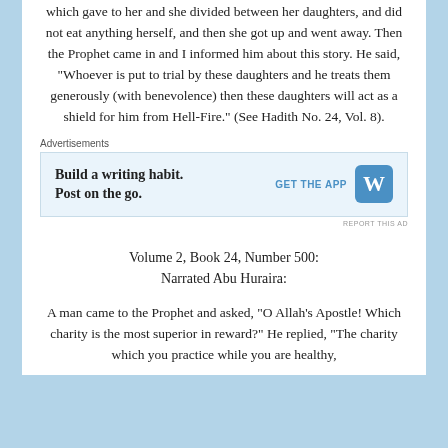which gave to her and she divided between her daughters, and did not eat anything herself, and then she got up and went away. Then the Prophet came in and I informed him about this story. He said, “Whoever is put to trial by these daughters and he treats them generously (with benevolence) then these daughters will act as a shield for him from Hell-Fire.” (See Hadith No. 24, Vol. 8).
[Figure (other): Advertisement banner: Build a writing habit. Post on the go. GET THE APP with WordPress logo]
Volume 2, Book 24, Number 500:
Narrated Abu Huraira:
A man came to the Prophet and asked, “O Allah’s Apostle! Which charity is the most superior in reward?” He replied, “The charity which you practice while you are healthy,